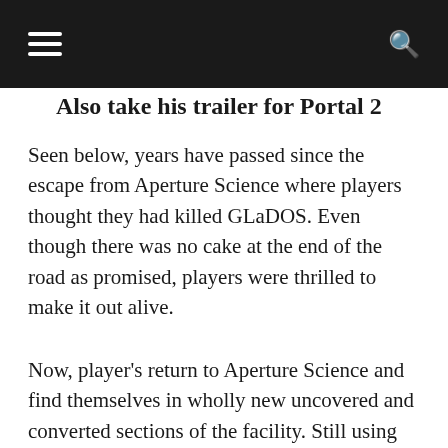[navigation header with menu and search icons]
Also take his trailer for Portal 2
Seen below, years have passed since the escape from Aperture Science where players thought they had killed GLaDOS. Even though there was no cake at the end of the road as promised, players were thrilled to make it out alive.
Now, player's return to Aperture Science and find themselves in wholly new uncovered and converted sections of the facility. Still using the Aperture Science Hand-held Portal Device (or simply the portal gun), players must endure an ever